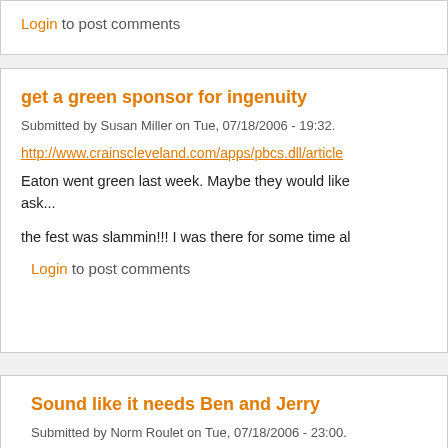Login to post comments
get a green sponsor for ingenuity
Submitted by Susan Miller on Tue, 07/18/2006 - 19:32.
http://www.crainscleveland.com/apps/pbcs.dll/article
Eaton went green last week. Maybe they would like ask...
the fest was slammin!!! I was there for some time al
Login to post comments
Sound like it needs Ben and Jerry
Submitted by Norm Roulet on Tue, 07/18/2006 - 23:00.
I saw Ben and Jerry are getting back into activism Snowie problem as well. Also I see the big BP bio
Where is Ingenuity next year, anyways?
Disrupt IT